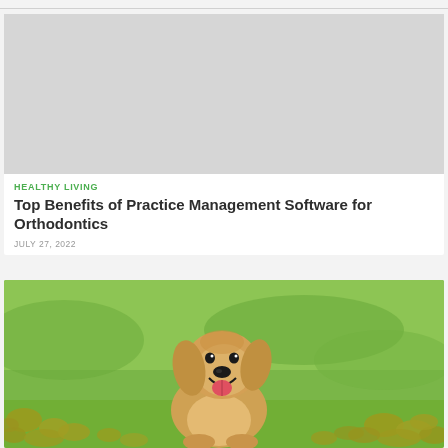[Figure (other): Gray placeholder image box for article header]
HEALTHY LIVING
Top Benefits of Practice Management Software for Orthodontics
JULY 27, 2022
[Figure (photo): Golden retriever puppy sitting in a field of orange flowers with green grass background, mouth open and smiling]